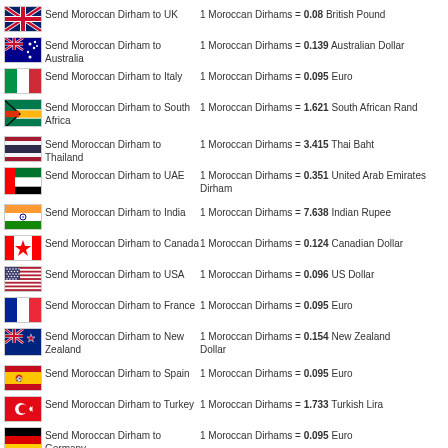Send Moroccan Dirham to UK — 1 Moroccan Dirhams = 0.08 British Pound
Send Moroccan Dirham to Australia — 1 Moroccan Dirhams = 0.139 Australian Dollar
Send Moroccan Dirham to Italy — 1 Moroccan Dirhams = 0.095 Euro
Send Moroccan Dirham to South Africa — 1 Moroccan Dirhams = 1.621 South African Rand
Send Moroccan Dirham to Thailand — 1 Moroccan Dirhams = 3.415 Thai Baht
Send Moroccan Dirham to UAE — 1 Moroccan Dirhams = 0.351 United Arab Emirates Dirham
Send Moroccan Dirham to India — 1 Moroccan Dirhams = 7.638 Indian Rupee
Send Moroccan Dirham to Canada — 1 Moroccan Dirhams = 0.124 Canadian Dollar
Send Moroccan Dirham to USA — 1 Moroccan Dirhams = 0.096 US Dollar
Send Moroccan Dirham to France — 1 Moroccan Dirhams = 0.095 Euro
Send Moroccan Dirham to New Zealand — 1 Moroccan Dirhams = 0.154 New Zealand Dollar
Send Moroccan Dirham to Spain — 1 Moroccan Dirhams = 0.095 Euro
Send Moroccan Dirham to Turkey — 1 Moroccan Dirhams = 1.733 Turkish Lira
Send Moroccan Dirham to Germany — 1 Moroccan Dirhams = 0.095 Euro